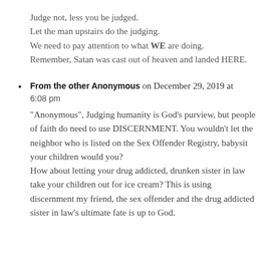Judge not, less you be judged.
Let the man upstairs do the judging.
We need to pay attention to what WE are doing.
Remember, Satan was cast out of heaven and landed HERE.
From the other Anonymous on December 29, 2019 at 6:08 pm

"Anonymous", Judging humanity is God's purview, but people of faith do need to use DISCERNMENT. You wouldn't let the neighbor who is listed on the Sex Offender Registry, babysit your children would you?
How about letting your drug addicted, drunken sister in law take your children out for ice cream? This is using discernment my friend, the sex offender and the drug addicted sister in law's ultimate fate is up to God.